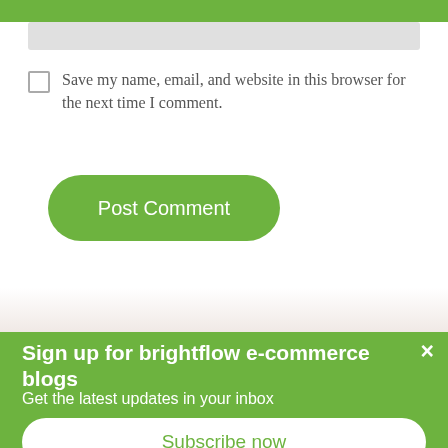[Figure (screenshot): Light gray input field at top of page]
Save my name, email, and website in this browser for the next time I comment.
[Figure (other): Green rounded button labeled Post Comment]
[Figure (other): Green banner overlay: Sign up for brightflow e-commerce blogs with Subscribe now button]